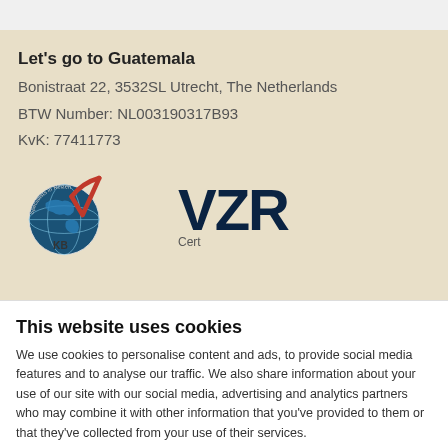Let's go to Guatemala
Bonistraat 22, 3532SL Utrecht, The Netherlands
BTW Number: NL003190317B93
KvK: 77411773
[Figure (logo): Globe logo with 'Specialists in Reizen' text and checkmark, alongside VZR logo text]
This website uses cookies
We use cookies to personalise content and ads, to provide social media features and to analyse our traffic. We also share information about your use of our site with our social media, advertising and analytics partners who may combine it with other information that you've provided to them or that they've collected from your use of their services.
Deny | Allow selection | Allow all
Necessary  Preferences  Statistics  Marketing  Show details